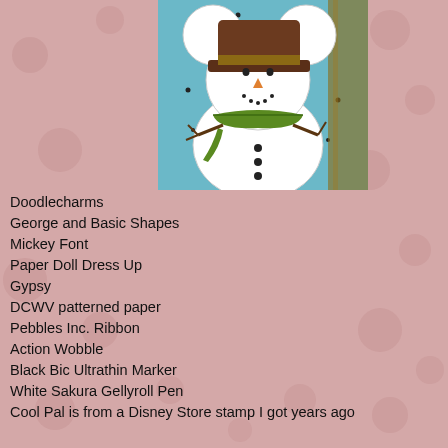[Figure (photo): Photo of a Mickey Mouse snowman decoration/craft on a light blue background, wearing a green scarf and brown hat]
Doodlecharms
George and Basic Shapes
Mickey Font
Paper Doll Dress Up
Gypsy
DCWV patterned paper
Pebbles Inc. Ribbon
Action Wobble
Black Bic Ultrathin Marker
White Sakura Gellyroll Pen
Cool Pal is from a Disney Store stamp I got years ago